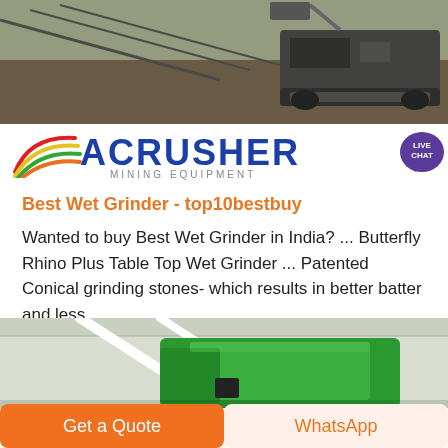[Figure (photo): Industrial mining equipment on rugged terrain, overhead conveyor structure visible in background]
[Figure (logo): ACRUSHER Mining Equipment logo with colorful arc stripes and LIVE CHAT bubble]
Best Wet Grinder - top10bestbuy
Wanted to buy Best Wet Grinder in India? ... Butterfly Rhino Plus Table Top Wet Grinder ... Patented Conical grinding stones- which results in better batter and less ...
Learn More →
[Figure (photo): Green industrial grinding or milling machine inside a factory/warehouse]
Get a Quote
WhatsApp